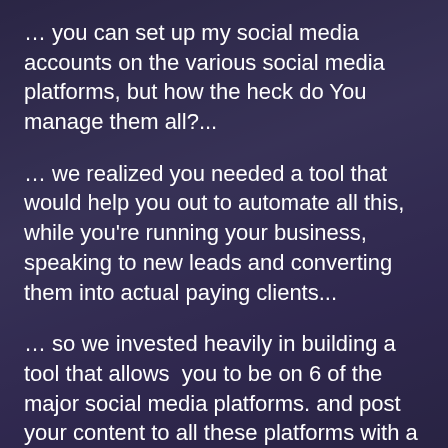… you can set up my social media accounts on the various social media platforms, but how the heck do You manage them all?...
… we realized you needed a tool that would help you out to automate all this, while you're running your business, speaking to new leads and converting them into actual paying clients...
… so we invested heavily in building a tool that allows  you to be on 6 of the major social media platforms. and post your content to all these platforms with a push of a button...